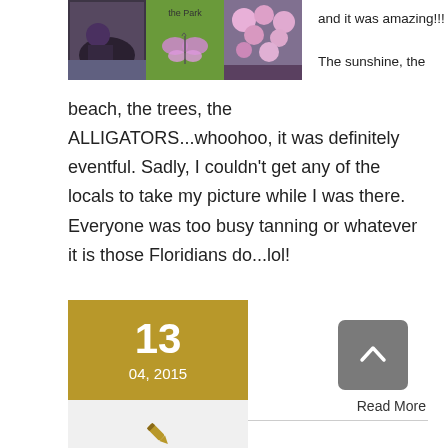[Figure (photo): Three small images in a row: person crouching by water, a butterfly on green background with text 'the Park', and pink flowers/bush]
and it was amazing!!!

The sunshine, the beach, the trees, the ALLIGATORS...whoohoo, it was definitely eventful. Sadly, I couldn't get any of the locals to take my picture while I was there. Everyone was too busy tanning or whatever it is those Floridians do...lol!
Read More
13
04, 2015
[Figure (illustration): Gold pen/quill icon on light gray background]
[Figure (illustration): Gray rounded square button with upward-pointing chevron arrow (scroll to top)]